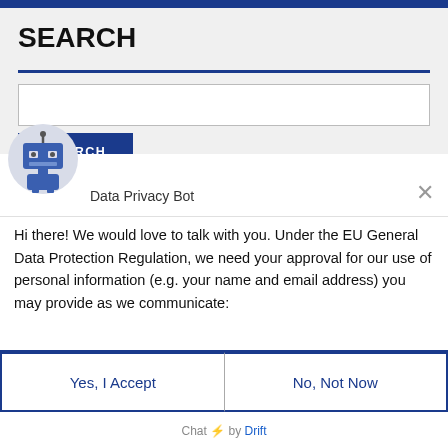SEARCH
[Figure (screenshot): Search input field (empty text box)]
SEARCH
Data Privacy Bot
Hi there! We would love to talk with you. Under the EU General Data Protection Regulation, we need your approval for our use of personal information (e.g. your name and email address) you may provide as we communicate:
(1) We'll store your personal information so that we can pick up
Yes, I Accept
No, Not Now
Chat ⚡ by Drift